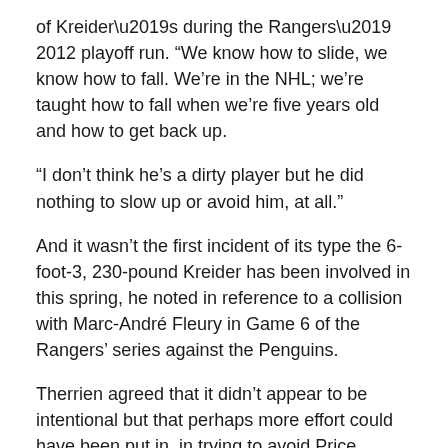of Kreider’s during the Rangers’ 2012 playoff run. “We know how to slide, we know how to fall. We’re in the NHL; we’re taught how to fall when we’re five years old and how to get back up.
“I don’t think he’s a dirty player but he did nothing to slow up or avoid him, at all.”
And it wasn’t the first incident of its type the 6-foot-3, 230-pound Kreider has been involved in this spring, he noted in reference to a collision with Marc-André Fleury in Game 6 of the Rangers’ series against the Penguins.
Therrien agreed that it didn’t appear to be intentional but that perhaps more effort could have been put in, in trying to avoid Price.
Not surprisingly, the Rangers saw things differently.